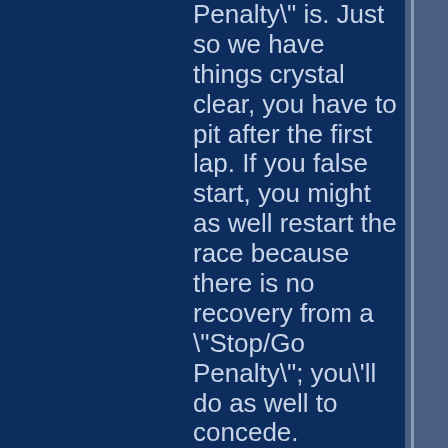Penalty\" is. Just so we have things crystal clear, you have to pit after the first lap. If you false start, you might as well restart the race because there is no recovery from a \"Stop/Go Penalty\"; you'll do as well to concede.

Once